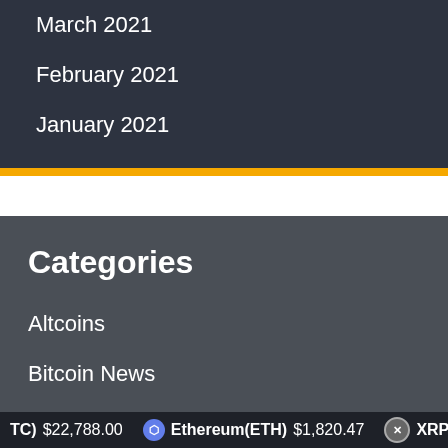March 2021
February 2021
January 2021
Categories
Altcoins
Bitcoin News
Cryptocurrency
Ethereum
Litecoin
(BTC) $22,788.00  Ethereum(ETH) $1,820.47  XRP(XRP) $0.36